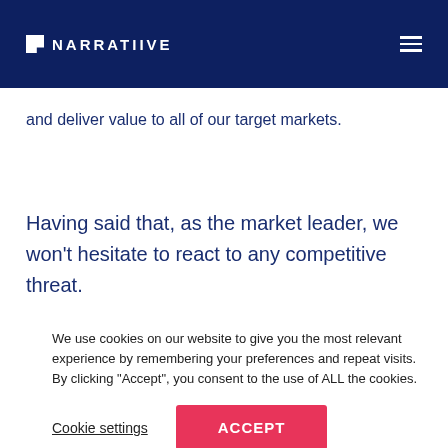NARRATIIVE
and deliver value to all of our target markets.
Having said that, as the market leader, we won't hesitate to react to any competitive threat.
We use cookies on our website to give you the most relevant experience by remembering your preferences and repeat visits. By clicking "Accept", you consent to the use of ALL the cookies.
Cookie settings
ACCEPT